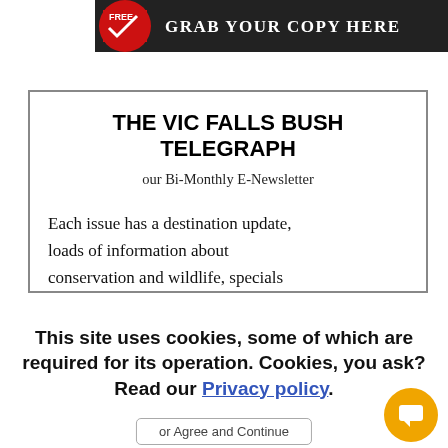[Figure (other): Dark banner with red badge reading FREE and text GRAB YOUR COPY HERE]
THE VIC FALLS BUSH TELEGRAPH
our Bi-Monthly E-Newsletter
Each issue has a destination update, loads of information about conservation and wildlife, specials
This site uses cookies, some of which are required for its operation. Cookies, you ask? Read our Privacy policy.
or Agree and Continue